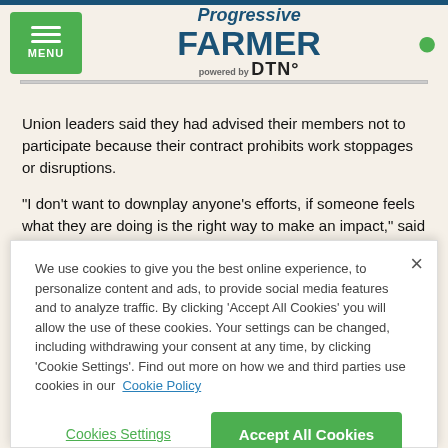Progressive FARMER powered by DTN
Union leaders said they had advised their members not to participate because their contract prohibits work stoppages or disruptions.
"I don't want to downplay anyone's efforts, if someone feels what they are doing is the right way to make an impact," said Eric Clinton, president of Unite Here! Local 362, which represents
We use cookies to give you the best online experience, to personalize content and ads, to provide social media features and to analyze traffic. By clicking 'Accept All Cookies' you will allow the use of these cookies. Your settings can be changed, including withdrawing your consent at any time, by clicking 'Cookie Settings'. Find out more on how we and third parties use cookies in our Cookie Policy
Cookies Settings
Accept All Cookies